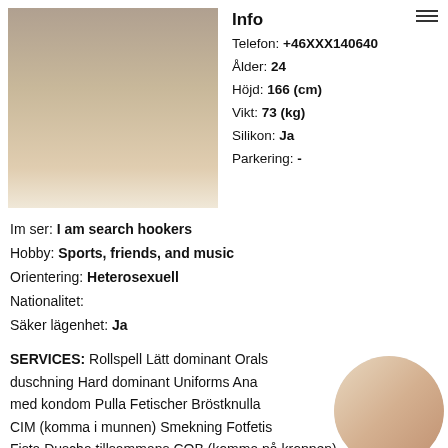[Figure (photo): Main profile photo of a person]
Info
Telefon: +46XXX140640
Ålder: 24
Höjd: 166 (cm)
Vikt: 73 (kg)
Silikon: Ja
Parkering: -
Im ser: I am search hookers
Hobby: Sports, friends, and music
Orientering: Heterosexuell
Nationalitet:
Säker lägenhet: Ja
SERVICES: Rollspell Lätt dominant Orals duschning Hard dominant Uniforms Ana med kondom Pulla Fetischer Bröstknulla CIM (komma i munnen) Smekning Fotfetis Fista Duscha tillsammans COB (komma på kroppen)
[Figure (photo): Small circular thumbnail photo of a person with blonde hair]